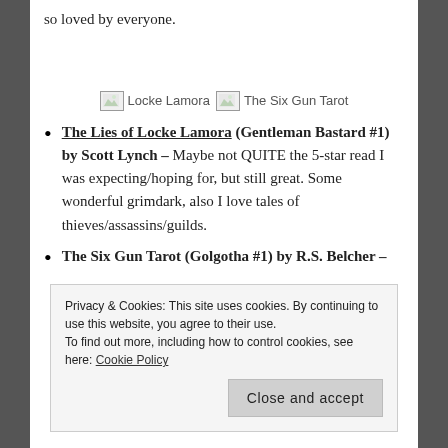so loved by everyone.
[Figure (photo): Two broken image placeholders labeled 'Locke Lamora' and 'The Six Gun Tarot']
The Lies of Locke Lamora (Gentleman Bastard #1) by Scott Lynch – Maybe not QUITE the 5-star read I was expecting/hoping for, but still great. Some wonderful grimdark, also I love tales of thieves/assassins/guilds.
The Six Gun Tarot (Golgotha #1) by R.S. Belcher –
Privacy & Cookies: This site uses cookies. By continuing to use this website, you agree to their use. To find out more, including how to control cookies, see here: Cookie Policy
Close and accept